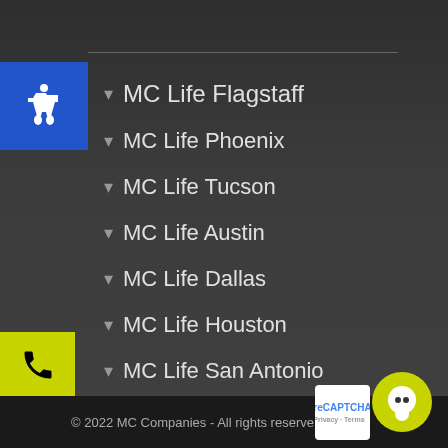MC Life Flagstaff
MC Life Phoenix
MC Life Tucson
MC Life Austin
MC Life Dallas
MC Life Houston
MC Life San Antonio
MC Life Tulsa
© 2022 MC Companies - All rights reserved